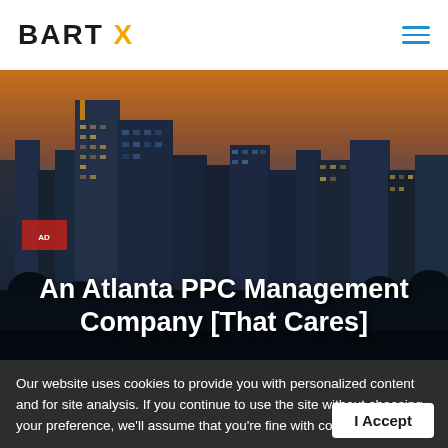BART X
[Figure (photo): Atlanta city skyline at dusk/night with illuminated skyscrapers against a warm sunset sky]
An Atlanta PPC Management Company [That Cares]
Our website uses cookies to provide you with personalized content and for site analysis. If you continue to use the site without choosing your preference, we'll assume that you're fine with cookies.
Pay-per-click advertising is a strategy used by many Atlanta companies. Rather than ranking organically through SEO,